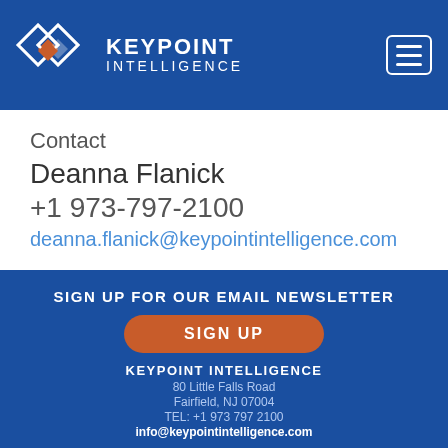[Figure (logo): Keypoint Intelligence logo with diamond shapes and white text on blue background]
Contact
Deanna Flanick
+1 973-797-2100
deanna.flanick@keypointintelligence.com
SIGN UP FOR OUR EMAIL NEWSLETTER
SIGN UP
KEYPOINT INTELLIGENCE
80 Little Falls Road
Fairfield, NJ 07004
TEL: +1 973 797 2100
info@keypointintelligence.com